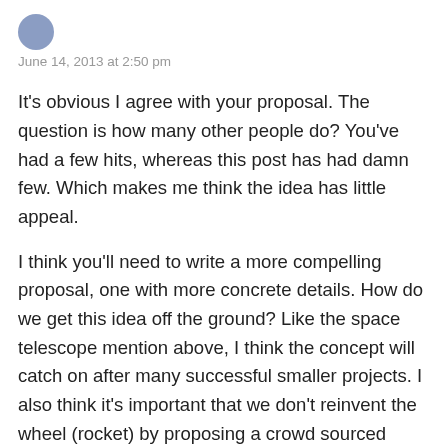June 14, 2013 at 2:50 pm
It's obvious I agree with your proposal. The question is how many other people do? You've had a few hits, whereas this post has had damn few. Which makes me think the idea has little appeal.
I think you'll need to write a more compelling proposal, one with more concrete details. How do we get this idea off the ground? Like the space telescope mention above, I think the concept will catch on after many successful smaller projects. I also think it's important that we don't reinvent the wheel (rocket) by proposing a crowd sourced launch system. It would be more practical to pay private systems for their services.